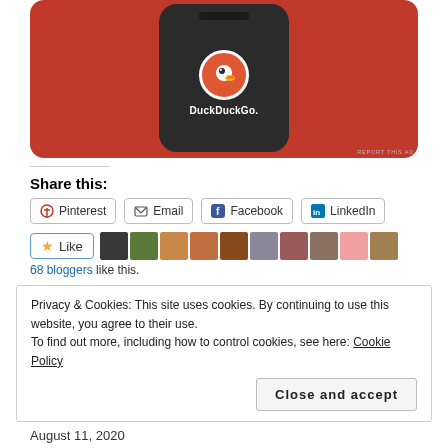[Figure (photo): DuckDuckGo advertisement showing a phone with the DuckDuckGo logo on an orange background]
Share this:
Pinterest   Email   Facebook   LinkedIn
Like   [avatars]   68 bloggers like this.
Privacy & Cookies: This site uses cookies. By continuing to use this website, you agree to their use.
To find out more, including how to control cookies, see here: Cookie Policy
Close and accept
August 11, 2020